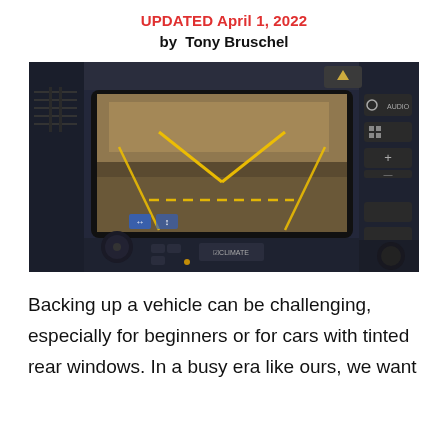UPDATED April 1, 2022
by Tony Bruschel
[Figure (photo): Car dashboard infotainment screen showing a rearview camera feed with yellow parking guide lines overlaid on a road surface. The screen is mounted in a dark interior with climate controls and audio buttons visible.]
Backing up a vehicle can be challenging, especially for beginners or for cars with tinted rear windows. In a busy era like ours, we want